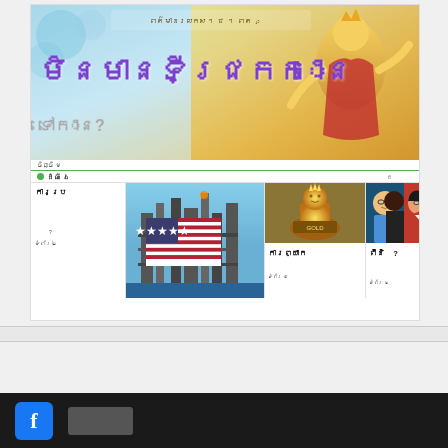[Figure (screenshot): Khmer-language newspaper/magazine front page screenshot. Features a large decorative hero image with Khmer text title in purple ('មិនមានទីជ្រកកោន' roughly 'No Refuge'), subtitle in gray Khmer script, an information band in green, and three article columns below with images (oil rig with US flag, gold figurine, and two people portraits). Page numbers referenced. Bottom has a dark footer bar with Facebook icon.]
មិនមានទីជ្រកកោន
ទៅកាន?
ចិញ្ចឹមកូនបានខ្លួនយើងសំបតំបូន
ដំណឹងថ្មីនៅដែន​ដែក
ការប្រយើយបាក្ 
ភ័ក្ដ​លើ​ខ្ញុំ
ការព្យាក្ខស្លង​ន​ ហើ​យ​យ
ពីនិយ​​​ារ
Facebook icon and social media links